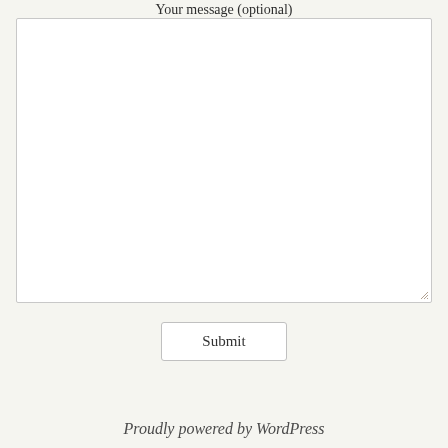Your message (optional)
[Figure (screenshot): A large empty textarea form field with a resize handle in the bottom-right corner]
Submit
Proudly powered by WordPress